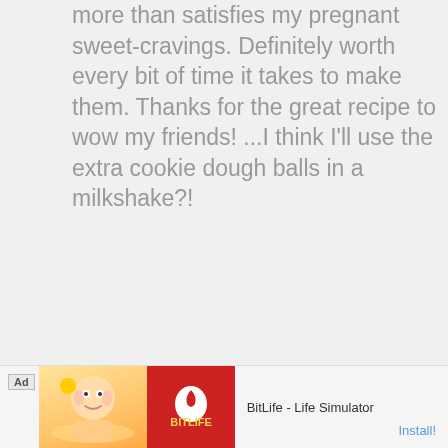more than satisfies my pregnant sweet-cravings. Definitely worth every bit of time it takes to make them. Thanks for the great recipe to wow my friends! ...I think I'll use the extra cookie dough balls in a milkshake?!
Reply
thedomesticrebel says
May 27, 2013 at 2:38 pm
[Figure (other): BitLife - Life Simulator advertisement banner with cartoon character and red BitLife logo]